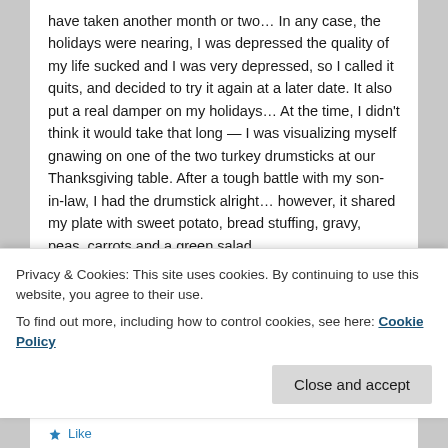have taken another month or two… In any case, the holidays were nearing, I was depressed the quality of my life sucked and I was very depressed, so I called it quits, and decided to try it again at a later date. It also put a real damper on my holidays… At the time, I didn't think it would take that long — I was visualizing myself gnawing on one of the two turkey drumsticks at our Thanksgiving table. After a tough battle with my son-in-law, I had the drumstick alright… however, it shared my plate with sweet potato, bread stuffing, gravy, peas, carrots and a green salad.

My family already thinks I'm nuts but I really want
Privacy & Cookies: This site uses cookies. By continuing to use this website, you agree to their use.
To find out more, including how to control cookies, see here: Cookie Policy
Close and accept
Like